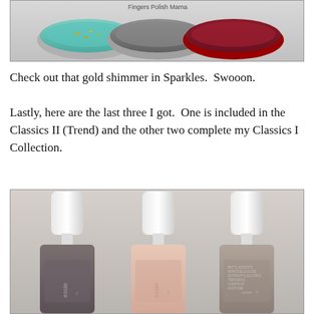[Figure (photo): Three nail polish bottles (teal/green, gray, dark red/maroon) with lids off showing shimmer, with watermark text 'Fingers Polish Mama' at top center]
Check out that gold shimmer in Sparkles.  Swooon.
Lastly, here are the last three I got.  One is included in the Classics II (Trend) and the other two complete my Classics I Collection.
[Figure (photo): Three essie nail polish bottles standing upright — left bottle is dark gray/mauve, center bottle is light peach/nude, right bottle is taupe/beige — all with white caps, on a gray background]